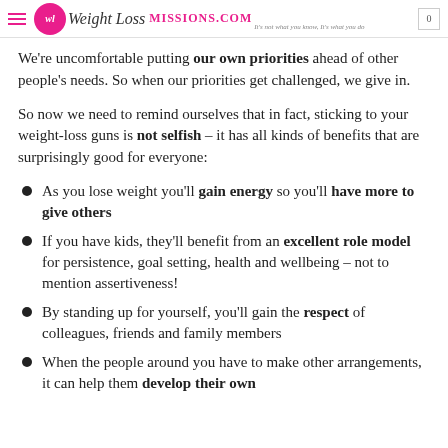Weight Loss MISSIONS.COM – It's not what you know, it's what you do
We're uncomfortable putting our own priorities ahead of other people's needs. So when our priorities get challenged, we give in.
So now we need to remind ourselves that in fact, sticking to your weight-loss guns is not selfish – it has all kinds of benefits that are surprisingly good for everyone:
As you lose weight you'll gain energy so you'll have more to give others
If you have kids, they'll benefit from an excellent role model for persistence, goal setting, health and wellbeing – not to mention assertiveness!
By standing up for yourself, you'll gain the respect of colleagues, friends and family members
When the people around you have to make other arrangements, it can help them develop their own